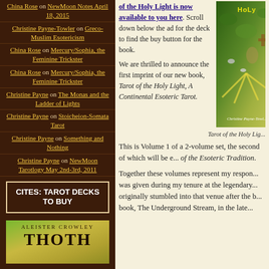China Rose on NewMoon Notes April 18, 2015
Christine Payne-Towler on Greco-Muslim Esotericism
China Rose on Mercury/Sophia, the Feminine Trickster
China Rose on Mercury/Sophia, the Feminine Trickster
Christine Payne on The Monas and the Ladder of Lights
Christine Payne on Stoicheion-Somata Tarot
Christine Payne on Something and Nothing
Christine Payne on NewMoon Tarotlogy May 2nd-3rd, 2011
CITES: TAROT DECKS TO BUY
[Figure (photo): Aleister Crowley Thoth Tarot book cover, green and gold tones]
of the Holy Light is now available to you here. Scroll down below the ad for the deck to find the buy button for the book.
We are thrilled to announce the first imprint of our new book, Tarot of the Holy Light, A Continental Esoteric Tarot.
[Figure (photo): Book cover: Tarot of the Holy Light by Christine Payne-Towler, colorful esoteric artwork with vines, figures, and light rays]
Tarot of the Holy Lig...
This is Volume 1 of a 2-volume set, the second of which will be e... of the Esoteric Tradition.
Together these volumes represent my respon... was given during my tenure at the legendary... originally stumbled into that venue after the b... book, The Underground Stream, in the late...